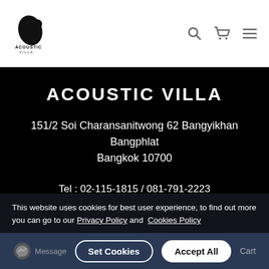ACOUSTIC VILLA — header with logo, search, cart, menu icons
ACOUSTIC VILLA
151/2 Soi Charansanitwong 62 Bangyikhan Bangphlat Bangkok 10700
Tel : 02-115-1815 / 081-791-2223
Email : info@acousticvilla.com
This website uses cookies for best user experience, to find out more you can go to our Privacy Policy and Cookies Policy
Message  |  Set Cookies  |  Accept All  |  Cart